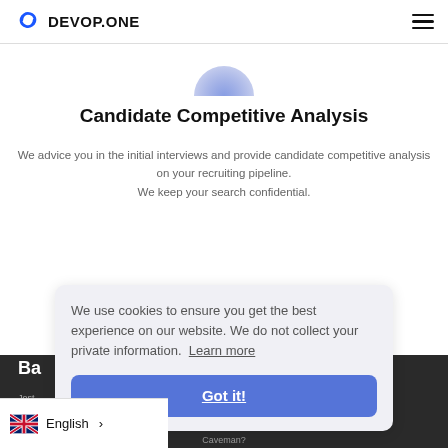DEVOP.ONE
[Figure (logo): Blue circular arrow icon (devop.one logo) partially visible at top center]
Candidate Competitive Analysis
We advice you in the initial interviews and provide candidate competitive analysis on your recruiting pipeline.
We keep your search confidential.
We use cookies to ensure you get the best experience on our website. We do not collect your private information. Learn more
Got it!
Ba
Jest
English
Caveman?